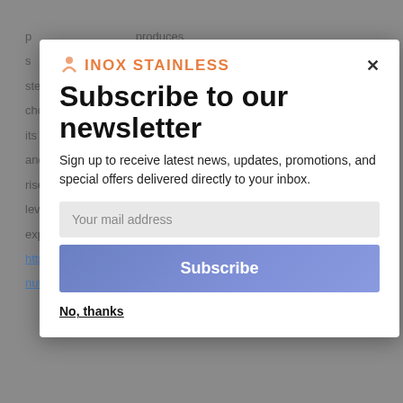[Figure (screenshot): Background webpage text about steroids, partially visible behind modal overlay]
[Figure (screenshot): Newsletter subscription modal popup from INOX STAINLESS with logo, title, subtitle, email input, Subscribe button, and No thanks link]
Subscribe to our newsletter
Sign up to receive latest news, updates, promotions, and special offers delivered directly to your inbox.
Your mail address
Subscribe
No, thanks